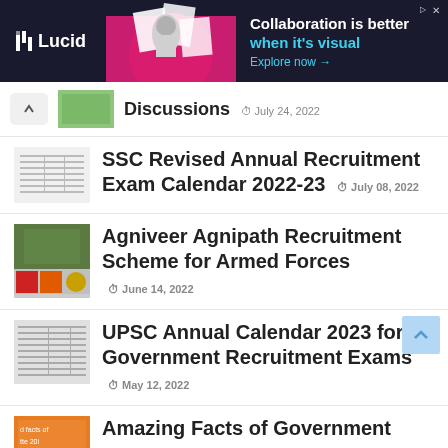[Figure (screenshot): Lucid advertisement banner with dark background, showing a woman with papers and text 'Collaboration is better when it's visual. Explore now →']
Discussions  July 24, 2022
SSC Revised Annual Recruitment Exam Calendar 2022-23  July 08, 2022
Agniveer Agnipath Recruitment Scheme for Armed Forces  June 14, 2022
UPSC Annual Calendar 2023 for Government Recruitment Exams  May 12, 2022
Amazing Facts of Government